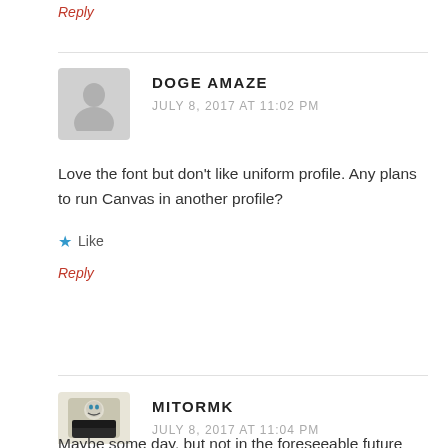Reply
DOGE AMAZE
JULY 8, 2017 AT 11:02 PM
Love the font but don't like uniform profile. Any plans to run Canvas in another profile?
★ Like
Reply
MITORMK
JULY 8, 2017 AT 11:04 PM
Maybe some day, but not in the foreseeable future